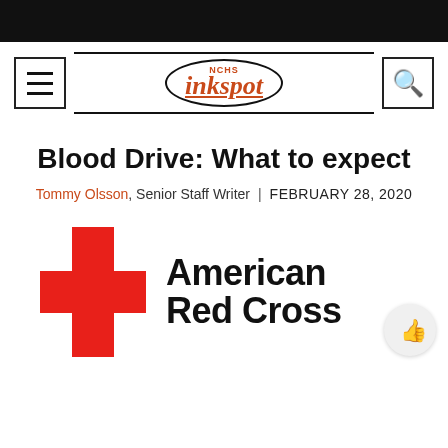NCHS inkspot
Blood Drive: What to expect
Tommy Olsson, Senior Staff Writer | FEBRUARY 28, 2020
[Figure (logo): American Red Cross logo with red cross symbol and bold black text reading 'American Red Cross']